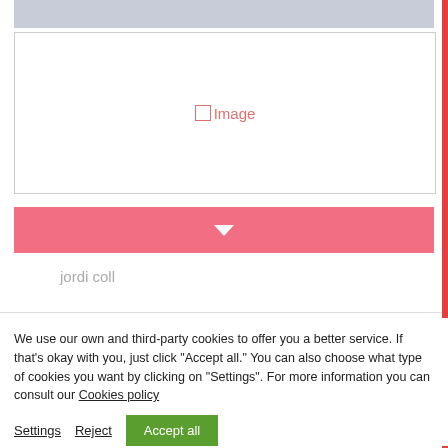[Figure (screenshot): Gray navigation bar at top of webpage]
[Figure (screenshot): Image placeholder box with checkbox icon and 'Image' text in pink/red]
[Figure (screenshot): Pink/salmon colored button with white downward chevron arrow]
jordi coll
We use our own and third-party cookies to offer you a better service. If that's okay with you, just click "Accept all." You can also choose what type of cookies you want by clicking on "Settings". For more information you can consult our Cookies policy
Settings  Reject  Accept all